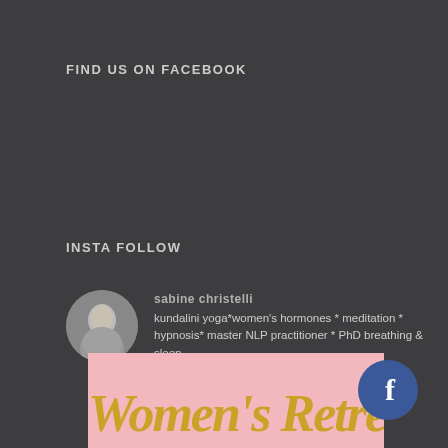FIND US ON FACEBOOK
INSTA FOLLOW
kundalini yoga*women's hormones * meditation * hypnosis* master NLP practitioner * PhD breathing & sleep scientist * conception* sabinechristelli.com
[Figure (photo): Profile photo of a woman in a circular avatar frame]
[Figure (illustration): Pink banner with gold cursive text reading Women's Retreat and a Facebook icon button overlay]